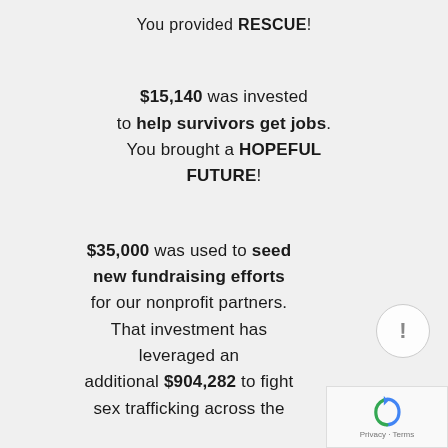You provided RESCUE!
$15,140 was invested to help survivors get jobs. You brought a HOPEFUL FUTURE!
$35,000 was used to seed new fundraising efforts for our nonprofit partners. That investment has leveraged an additional $904,282 to fight sex trafficking across the